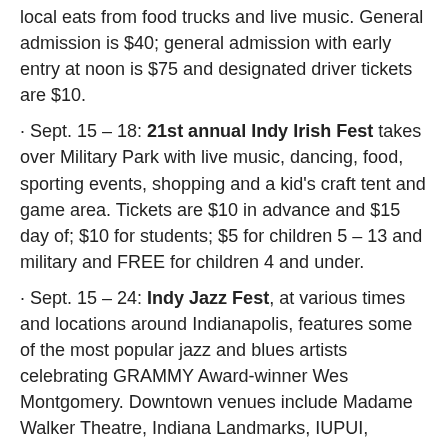local eats from food trucks and live music. General admission is $40; general admission with early entry at noon is $75 and designated driver tickets are $10.
· Sept. 15 – 18: 21st annual Indy Irish Fest takes over Military Park with live music, dancing, food, sporting events, shopping and a kid's craft tent and game area. Tickets are $10 in advance and $15 day of; $10 for students; $5 for children 5 – 13 and military and FREE for children 4 and under.
· Sept. 15 – 24: Indy Jazz Fest, at various times and locations around Indianapolis, features some of the most popular jazz and blues artists celebrating GRAMMY Award-winner Wes Montgomery. Downtown venues include Madame Walker Theatre, Indiana Landmarks, IUPUI, Cabaret at The Columbia Club and Central Library.